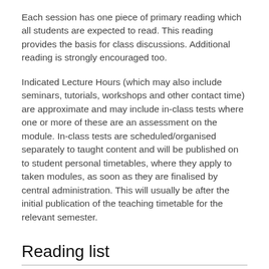Each session has one piece of primary reading which all students are expected to read. This reading provides the basis for class discussions. Additional reading is strongly encouraged too.
Indicated Lecture Hours (which may also include seminars, tutorials, workshops and other contact time) are approximate and may include in-class tests where one or more of these are an assessment on the module. In-class tests are scheduled/organised separately to taught content and will be published on to student personal timetables, where they apply to taken modules, as soon as they are finalised by central administration. This will usually be after the initial publication of the teaching timetable for the relevant semester.
Reading list
https://readinglists.surrey.ac.uk
Upon accessing the reading list, please search for the